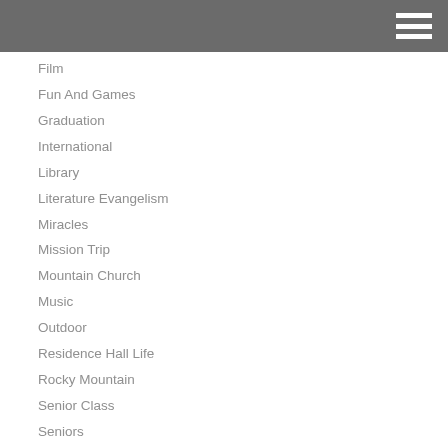Film
Fun And Games
Graduation
International
Library
Literature Evangelism
Miracles
Mission Trip
Mountain Church
Music
Outdoor
Residence Hall Life
Rocky Mountain
Senior Class
Seniors
Soccer
Spanish
Spiritual
Sports
Student Association
Student Testimonies
Student Writing
Travel
Video
Volleyball